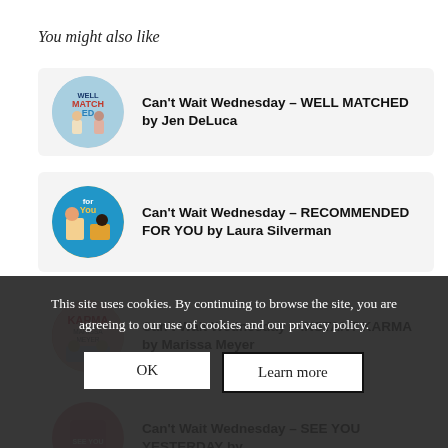You might also like
Can't Wait Wednesday – WELL MATCHED by Jen DeLuca
Can't Wait Wednesday – RECOMMENDED FOR YOU by Laura Silverman
Can't Wait Wednesday – INSTANT KARMA by Marissa Meyer
Can't Wait Wednesday – SEE YOU YESTERDAY by...
This site uses cookies. By continuing to browse the site, you are agreeing to our use of cookies and our privacy policy.
OK
Learn more